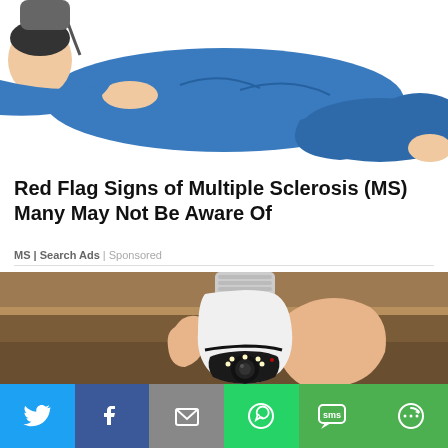[Figure (illustration): Cartoon illustration of a person lying down in blue clothing, suggesting fatigue or illness, associated with Multiple Sclerosis symptoms.]
Red Flag Signs of Multiple Sclerosis (MS) Many May Not Be Aware Of
MS | Search Ads | Sponsored
[Figure (photo): Photo of a hand holding a white light bulb-shaped security camera device with a lens and LED lights at the bottom, with a wooden ceiling background.]
[Figure (infographic): Social media share bar with buttons for Twitter, Facebook, Email, WhatsApp, SMS, and More options.]